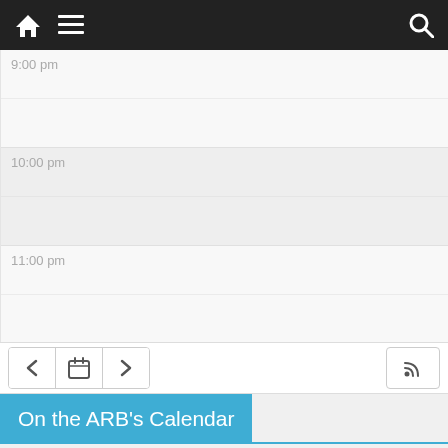Navigation bar with home, menu, and search icons
9:00 pm
10:00 pm
11:00 pm
[Figure (screenshot): Calendar navigation controls with back, calendar, forward arrows and RSS button]
On the ARB's Calendar
AUG 22 Mon — all-day — 115th Internet Based FIDE Arbite... @ Online
AUG 31 — all-day — FIDE Arbiters' Seminar in Saint ... @ Saint Louis, Missouri, USA